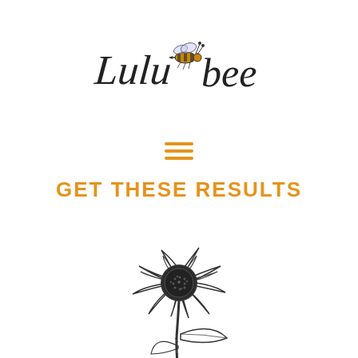[Figure (logo): Lulubee logo with script text 'Lulubee' and an illustrated bee in black and amber/gold tones]
[Figure (illustration): Orange hamburger menu icon consisting of three horizontal lines]
GET THESE RESULTS
[Figure (illustration): Sketch illustration of a sunflower in black ink, showing a detailed flower head with petals and a stem with a leaf, partially cropped at the bottom]